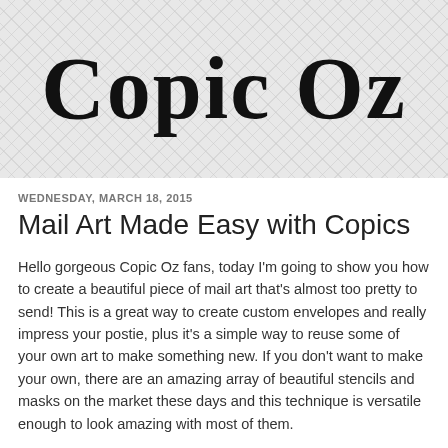[Figure (logo): Copic Oz blog logo in cursive/script font on a chevron/herringbone patterned grey background]
WEDNESDAY, MARCH 18, 2015
Mail Art Made Easy with Copics
Hello gorgeous Copic Oz fans, today I'm going to show you how to create a beautiful piece of mail art that's almost too pretty to send!  This is a great way to create custom envelopes and really impress your postie, plus it's a simple way to reuse some of your own art to make something new.  If you don't want to make your own, there are an amazing array of beautiful stencils and masks on the market these days and this technique is versatile enough to look amazing with most of them.